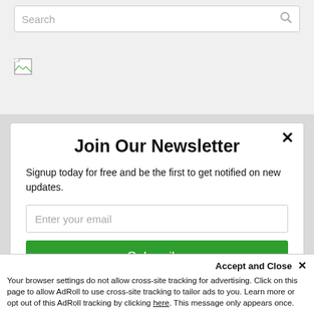Search
[Figure (other): Broken image icon (small image placeholder with torn corner)]
Join Our Newsletter
Signup today for free and be the first to get notified on new updates.
Enter your email
Subscribe
Accept and Close ✕
Your browser settings do not allow cross-site tracking for advertising. Click on this page to allow AdRoll to use cross-site tracking to tailor ads to you. Learn more or opt out of this AdRoll tracking by clicking here. This message only appears once.